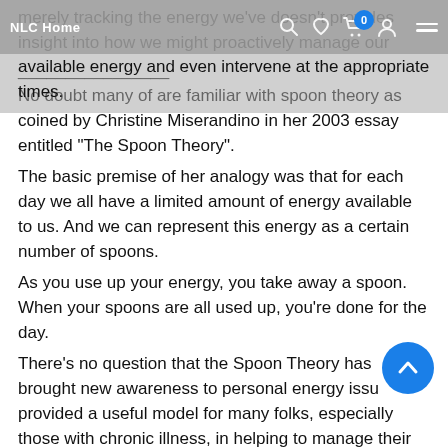NLC Home
merely tracking the energy we've doesn't provides insight into how we might proactively manage our available energy and even intervene at the appropriate times.
_______________
No doubt many of are familiar with spoon theory as coined by Christine Miserandino in her 2003 essay entitled "The Spoon Theory".
The basic premise of her analogy was that for each day we all have a limited amount of energy available to us. And we can represent this energy as a certain number of spoons.
As you use up your energy, you take away a spoon. When your spoons are all used up, you're done for the day.
There's no question that the Spoon Theory has brought new awareness to personal energy issues and provided a useful model for many folks, especially those with chronic illness, in helping to manage their daily activities.